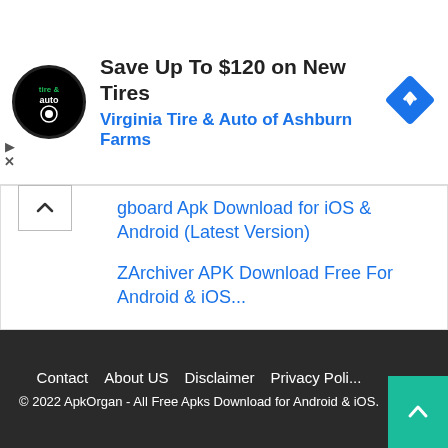[Figure (advertisement): Ad banner for Virginia Tire & Auto of Ashburn Farms with logo, headline 'Save Up To $120 on New Tires', blue subtitle, and blue diamond navigation icon]
gboard Apk Download for iOS & Android (Latest Version)
ZArchiver APK Download Free For Android & iOS...
Free Fire Advance Server APK Download For iOS & Android
Contact   About US   Disclaimer   Privacy Policy
© 2022 ApkOrgan - All Free Apks Download for Android & iOS.